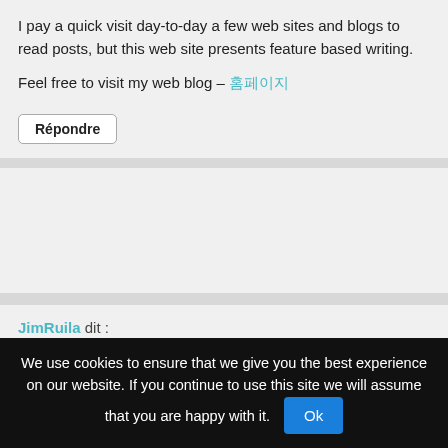I pay a quick visit day-to-day a few web sites and blogs to read posts, but this web site presents feature based writing.
Feel free to visit my web blog – 홈페이지
Répondre
JimRuila dit :
août 23, 2022 à 9:34
robaxin back pain
Répondre
홈페이지 바로 가기 클릭 여기 dit :
août 23, 2022 à 10:11
Good information. Lucky me I ran across your website.
We use cookies to ensure that we give you the best experience on our website. If you continue to use this site we will assume that you are happy with it.
Ok